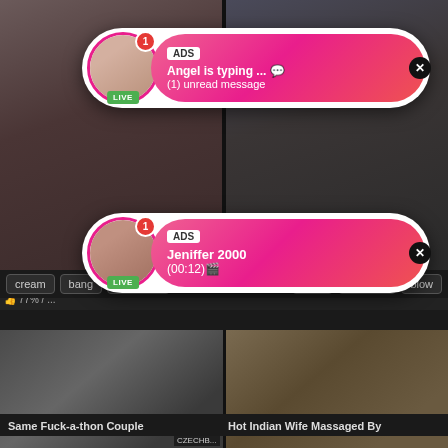[Figure (screenshot): Adult video website screenshot showing two ad popup overlays with profile avatars labeled LIVE, tags (cream, bang, groupsex, style, amateur, blow), and two bottom video thumbnails with titles 'Same Fuck-a-thon Couple' and 'Hot Indian Wife Massaged By']
ADS Angel is typing ... (1) unread message
ADS Jeniffer 2000 (00:12)
Deut... 77% /
cream
bang
groupsex
style
amateur
blow
Same Fuck-a-thon Couple
Hot Indian Wife Massaged By